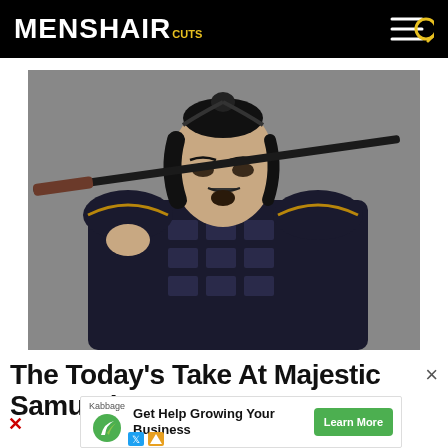MENSHAIRCUTS
[Figure (photo): A man dressed in Japanese samurai armor holding a sword over his shoulder, with his hair tied up in a bun, against a grey background.]
The Today's Take At Majestic Samurai
[Figure (other): Advertisement banner: Kabbage - Get Help Growing Your Business - Learn More button]